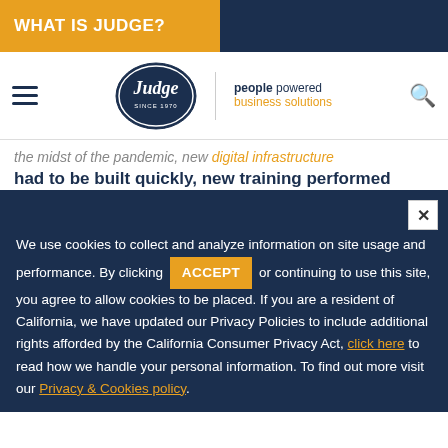WHAT IS JUDGE?
[Figure (logo): Judge logo with oval emblem and 'people powered business solutions' tagline, with hamburger menu and search icon]
the midst of the pandemic, new digital infrastructure had to be built quickly, new training performed
We use cookies to collect and analyze information on site usage and performance. By clicking ACCEPT or continuing to use this site, you agree to allow cookies to be placed. If you are a resident of California, we have updated our Privacy Policies to include additional rights afforded by the California Consumer Privacy Act, click here to read how we handle your personal information. To find out more visit our Privacy & Cookies policy.